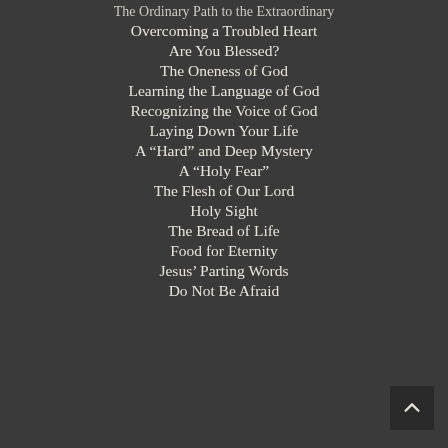The Ordinary Path to the Extraordinary
Overcoming a Troubled Heart
Are You Blessed?
The Oneness of God
Learning the Language of God
Recognizing the Voice of God
Laying Down Your Life
A “Hard” and Deep Mystery
A “Holy Fear”
The Flesh of Our Lord
Holy Sight
The Bread of Life
Food for Eternity
Jesus’ Parting Words
Do Not Be Afraid